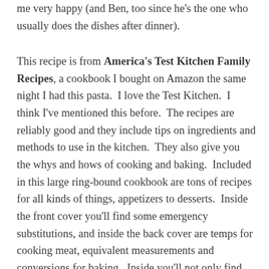me very happy (and Ben, too since he's the one who usually does the dishes after dinner).
This recipe is from America's Test Kitchen Family Recipes, a cookbook I bought on Amazon the same night I had this pasta.  I love the Test Kitchen.  I think I've mentioned this before.  The recipes are reliably good and they include tips on ingredients and methods to use in the kitchen.  They also give you the whys and hows of cooking and baking.  Included in this large ring-bound cookbook are tons of recipes for all kinds of things, appetizers to desserts.  Inside the front cover you'll find some emergency substitutions, and inside the back cover are temps for cooking meat, equivalent measurements and conversions for baking.  Inside you'll not only find recipes but cookware tips and food